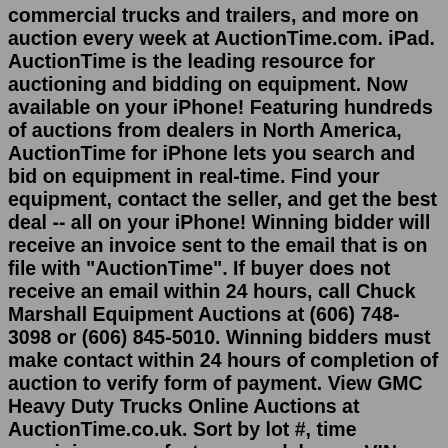commercial trucks and trailers, and more on auction every week at AuctionTime.com. iPad. AuctionTime is the leading resource for auctioning and bidding on equipment. Now available on your iPhone! Featuring hundreds of auctions from dealers in North America, AuctionTime for iPhone lets you search and bid on equipment in real-time. Find your equipment, contact the seller, and get the best deal -- all on your iPhone! Winning bidder will receive an invoice sent to the email that is on file with "AuctionTime". If buyer does not receive an email within 24 hours, call Chuck Marshall Equipment Auctions at (606) 748-3098 or (606) 845-5010. Winning bidders must make contact within 24 hours of completion of auction to verify form of payment. View GMC Heavy Duty Trucks Online Auctions at AuctionTime.co.uk. Sort by lot #, time remaining, manufacturer, model, year, VIN, and location. Page 1 of 1. Wednesday August 10 Vehicles and Equipment Auction. Purple Wave Auction. August 10. Manhattan, KS 66502. 2022 August 11. The latest tweets from @auctiontimePurchaseFlex